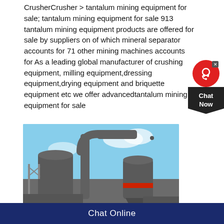CrusherCrusher > tantalum mining equipment for sale; tantalum mining equipment for sale 913 tantalum mining equipment products are offered for sale by suppliers on of which mineral separator accounts for 71 other mining machines accounts for As a leading global manufacturer of crushing equipment, milling equipment,dressing equipment,drying equipment and briquette equipment etc we offer advancedtantalum mining equipment for sale
[Figure (photo): Industrial mining/milling equipment with large cyclone separators and pipes against a blue sky background]
Chat Online